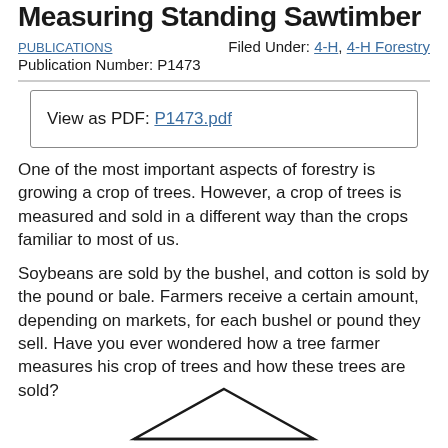Measuring Standing Sawtimber
PUBLICATIONS
Filed Under: 4-H, 4-H Forestry
Publication Number: P1473
View as PDF: P1473.pdf
One of the most important aspects of forestry is growing a crop of trees. However, a crop of trees is measured and sold in a different way than the crops familiar to most of us.
Soybeans are sold by the bushel, and cotton is sold by the pound or bale. Farmers receive a certain amount, depending on markets, for each bushel or pound they sell. Have you ever wondered how a tree farmer measures his crop of trees and how these trees are sold?
[Figure (illustration): Partial illustration visible at the bottom of the page, appears to be a triangular or tent-like shape outline]